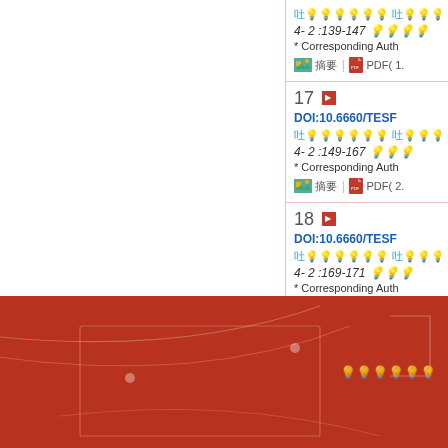4- 2 :139-147 | * Corresponding Auth | 摘要 | PDF( 1.
17 DOI:10.6660/TESF... | 4- 2 :149-167 | * Corresponding Auth | 摘要 | PDF( 2.
18 DOI:10.6660/TESF... | 4- 2 :169-171 | * Corresponding Auth | 摘要 | PDF( 0.
[Figure (illustration): Red footer banner with decorative curved lines and geometric shapes overlay, light text on right side]